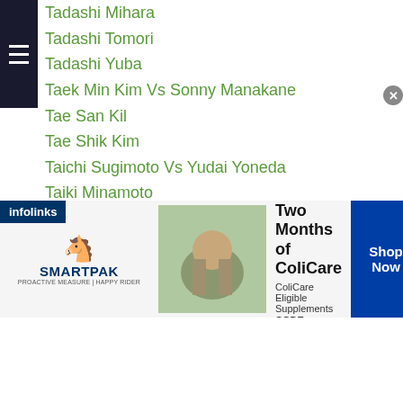Tadashi Mihara
Tadashi Tomori
Tadashi Yuba
Taek Min Kim Vs Sonny Manakane
Tae San Kil
Tae Shik Kim
Taichi Sugimoto Vs Yudai Yoneda
Taiki Minamoto
Taison Mukaiyama
Takafumi Iwaya
Takahiro Ao
Takahiro Ao Vs Gamaliel Diaz
Takahiro Yamamoto
Takahisa Masuda
Takanori Hatakeyama
Takanori Hatakeyama Vs Hiroyuki Sakamoto
Takanori Hatakeyama Vs Jae Woon Park
[Figure (screenshot): SmartPak advertisement banner: 50% Off Two Months of ColiCare, ColiCare Eligible Supplements, CODE: COLICARE10, Shop Now button, with horse and product images]